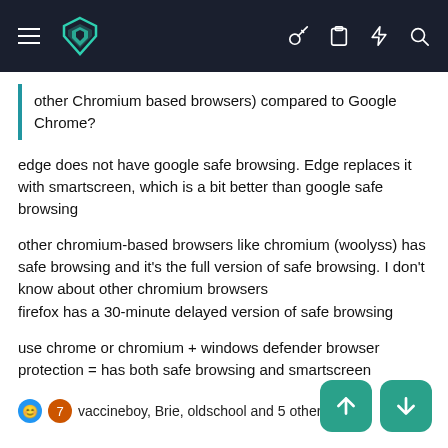Navigation bar with logo and icons
other Chromium based browsers) compared to Google Chrome?
edge does not have google safe browsing. Edge replaces it with smartscreen, which is a bit better than google safe browsing
other chromium-based browsers like chromium (woolyss) has safe browsing and it's the full version of safe browsing. I don't know about other chromium browsers
firefox has a 30-minute delayed version of safe browsing
use chrome or chromium + windows defender browser protection = has both safe browsing and smartscreen
vaccineboy, Brie, oldschool and 5 others